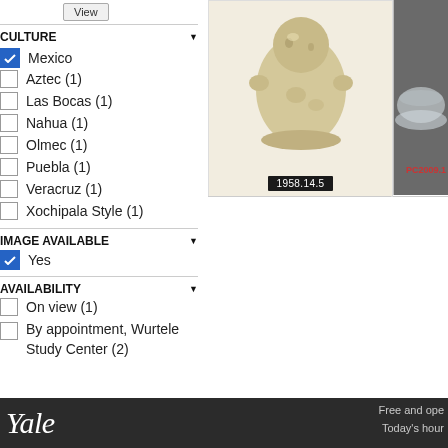View
CULTURE
Mexico (checked)
Aztec (1)
Las Bocas (1)
Nahua (1)
Olmec (1)
Puebla (1)
Veracruz (1)
Xochipala Style (1)
IMAGE AVAILABLE
Yes (checked)
AVAILABILITY
On view (1)
By appointment, Wurtele Study Center (2)
[Figure (photo): Museum artifact photo of a small translucent yellowish stone figure, labeled 1958.14.5]
[Figure (photo): Partially visible museum artifact photo of a ceramic bowl, labeled PC2009.1...]
Yale    Free and ope    Today's hour